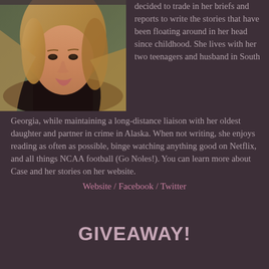[Figure (photo): Portrait photo of a woman with long blonde hair wearing a black top, photographed outdoors with a blurred green background]
decided to trade in her briefs and reports to write the stories that have been floating around in her head since childhood. She lives with her two teenagers and husband in South Georgia, while maintaining a long-distance liaison with her oldest daughter and partner in crime in Alaska. When not writing, she enjoys reading as often as possible, binge watching anything good on Netflix, and all things NCAA football (Go Noles!). You can learn more about Case and her stories on her website.
Website / Facebook / Twitter
GIVEAWAY!